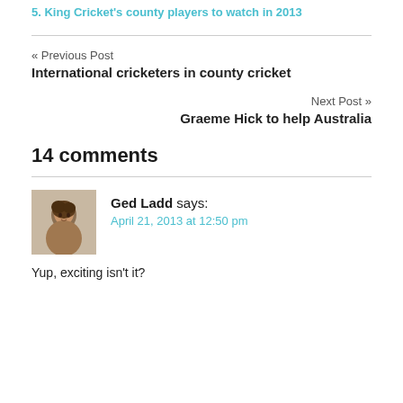5. King Cricket's county players to watch in 2013
« Previous Post
International cricketers in county cricket
Next Post »
Graeme Hick to help Australia
14 comments
Ged Ladd says:
April 21, 2013 at 12:50 pm
Yup, exciting isn't it?